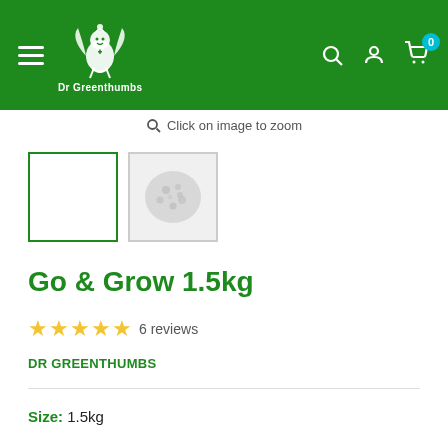Dr Greenthumbs — navigation header with logo, menu, search, account, cart (0)
Click on image to zoom
[Figure (photo): Two product thumbnail images: first is a white/blank square with green border (selected), second is a grey granule/product image]
Go & Grow 1.5kg
★★★★★ 6 reviews
DR GREENTHUMBS
Size: 1.5kg